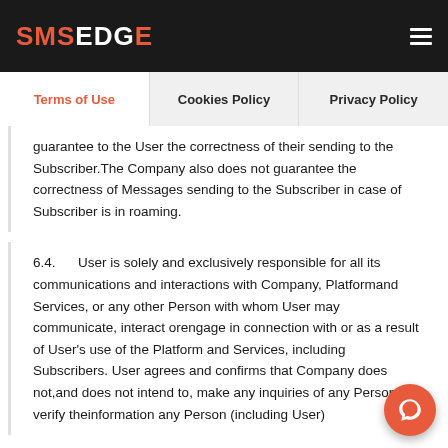SMSEDGE
Terms of Use | Cookies Policy | Privacy Policy
guarantee to the User the correctness of their sending to the Subscriber.The Company also does not guarantee the correctness of Messages sending to the Subscriber in case of Subscriber is in roaming.
6.4.   User is solely and exclusively responsible for all its communications and interactions with Company, Platformand Services, or any other Person with whom User may communicate, interact orengage in connection with or as a result of User's use of the Platform and Services, including Subscribers. User agrees and confirms that Company does not,and does not intend to, make any inquiries of any Person or verify theinformation any Person (including User)